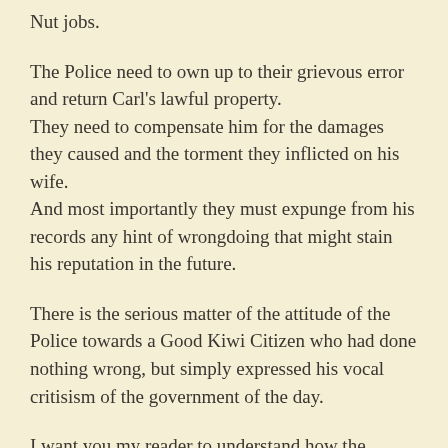Nut jobs.
The Police need to own up to their grievous error and return Carl's lawful property. They need to compensate him for the damages they caused and the torment they inflicted on his wife. And most importantly they must expunge from his records any hint of wrongdoing that might stain his reputation in the future.
There is the serious matter of the attitude of the Police towards a Good Kiwi Citizen who had done nothing wrong, but simply expressed his vocal critisism of the government of the day.
I want you my reader to understand how the Ardern Regime has politisised the Police and turned them into an instrument for attacking